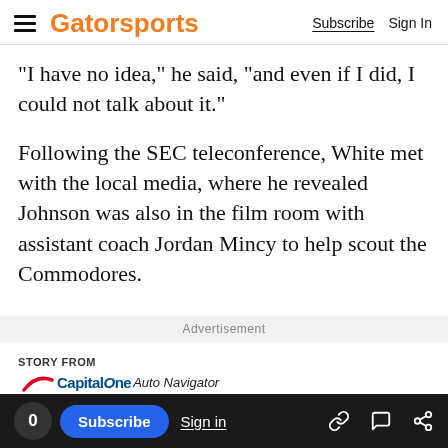Gatorsports | Subscribe  Sign In
“I have no idea,” he said, “and even if I did, I could not talk about it.”
Following the SEC teleconference, White met with the local media, where he revealed Johnson was also in the film room with assistant coach Jordan Mincy to help scout the Commodores.
Advertisement
[Figure (logo): STORY FROM Capital One Auto Navigator logo with red swoosh]
Gas prices soar. the answer?
0  Subscribe  Sign in